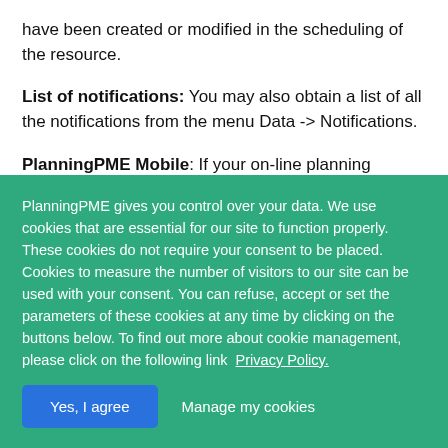have been created or modified in the scheduling of the resource.
List of notifications: You may also obtain a list of all the notifications from the menu Data -> Notifications.
PlanningPME Mobile: If your on-line planning system is connected using PlanningPME Mobile licences, users will
PlanningPME gives you control over your data. We use cookies that are essential for our site to function properly. These cookies do not require your consent to be placed. Cookies to measure the number of visitors to our site can be used with your consent. You can refuse, accept or set the parameters of these cookies at any time by clicking on the buttons below. To find out more about cookie management, please click on the following link  Privacy Policy.
Yes, I agree
Manage my cookies